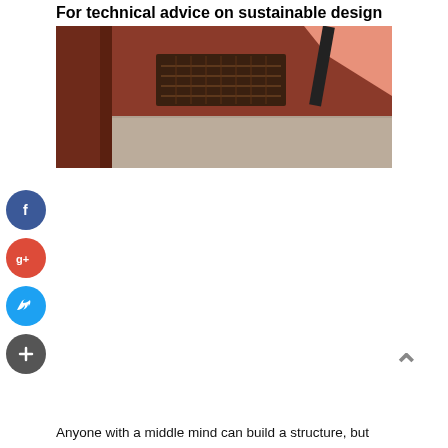For technical advice on sustainable design
[Figure (photo): Interior architectural photo showing reddish-brown walls and ceiling with a ventilation grille and a pink/salmon-colored geometric element in the upper right corner]
[Figure (infographic): Social media sharing buttons column: Facebook (blue circle with f), Google+ (red circle with g+), Twitter (light blue circle with bird icon), and a dark circle with plus sign]
Anyone with a middle mind can build a structure, but